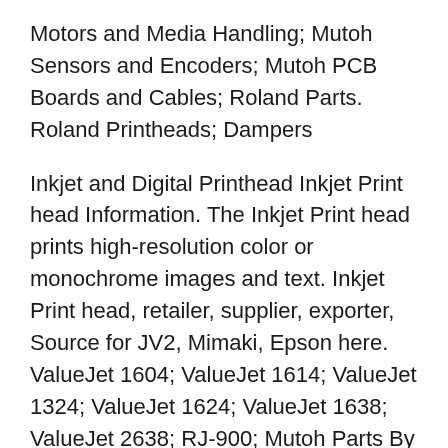Motors and Media Handling; Mutoh Sensors and Encoders; Mutoh PCB Boards and Cables; Roland Parts. Roland Printheads; Dampers
Inkjet and Digital Printhead Inkjet Print head Information. The Inkjet Print head prints high-resolution color or monochrome images and text. Inkjet Print head, retailer, supplier, exporter, Source for JV2, Mimaki, Epson here. ValueJet 1604; ValueJet 1614; ValueJet 1324; ValueJet 1624; ValueJet 1638; ValueJet 2638; RJ-900; Mutoh Parts By Category. Mutoh Printheads; Mutoh Dampers and Inkline; Mutoh Maintenance Parts and Supplies; Mutoh Motors and Media Handling; Mutoh Sensors and Encoders; Mutoh PCB Boards and Cables; Roland